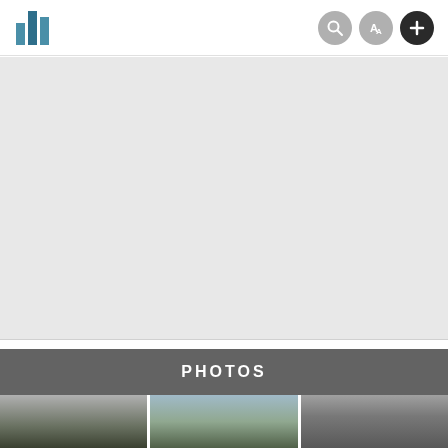Navigation bar with logo and icons
[Figure (screenshot): Large gray content/map area placeholder]
PHOTOS
[Figure (photo): Three grayscale photos at bottom: trees/foliage left, trees/landscape center, architectural arch right]